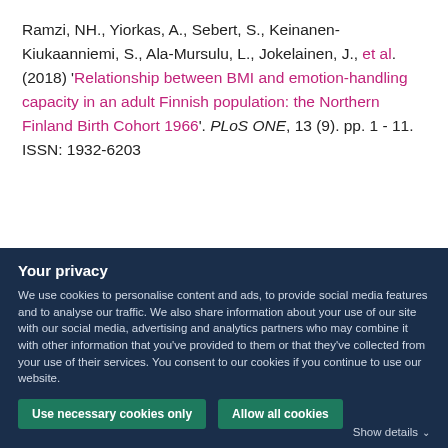Ramzi, NH., Yiorkas, A., Sebert, S., Keinanen-Kiukaanniemi, S., Ala-Mursulu, L., Jokelainen, J., et al. (2018) 'Relationship between BMI and emotion-handling capacity in an adult Finnish population: the Northern Finland Birth Cohort 1966'. PLoS ONE, 13 (9). pp. 1 - 11. ISSN: 1932-6203
Your privacy
We use cookies to personalise content and ads, to provide social media features and to analyse our traffic. We also share information about your use of our site with our social media, advertising and analytics partners who may combine it with other information that you've provided to them or that they've collected from your use of their services. You consent to our cookies if you continue to use our website.